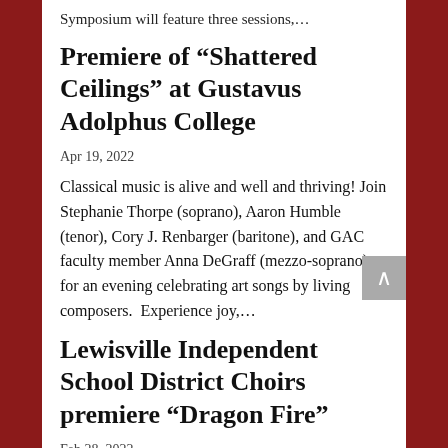Symposium will feature three sessions,…
Premiere of “Shattered Ceilings” at Gustavus Adolphus College
Apr 19, 2022
Classical music is alive and well and thriving! Join Stephanie Thorpe (soprano), Aaron Humble (tenor), Cory J. Renbarger (baritone), and GAC faculty member Anna DeGraff (mezzo-soprano) for an evening celebrating art songs by living composers.  Experience joy,…
Lewisville Independent School District Choirs premiere “Dragon Fire”
Feb 28, 2022
A collaborative new work composed by Jocelyn